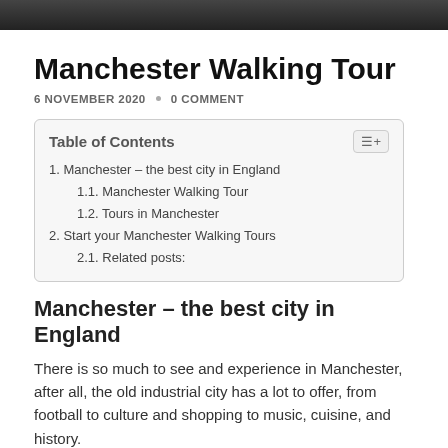[Figure (photo): Dark photo strip at top of page]
Manchester Walking Tour
6 NOVEMBER 2020  •  0 COMMENT
| Table of Contents |
| 1. Manchester – the best city in England |
| 1.1. Manchester Walking Tour |
| 1.2. Tours in Manchester |
| 2. Start your Manchester Walking Tours |
| 2.1. Related posts: |
Manchester – the best city in England
There is so much to see and experience in Manchester, after all, the old industrial city has a lot to offer, from football to culture and shopping to music, cuisine, and history.